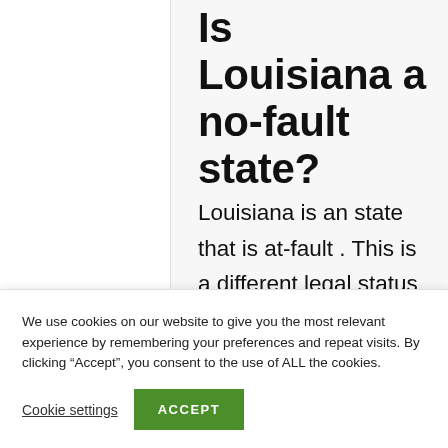Is Louisiana a no-fault state?
Louisiana is an state that is at-fault . This is a different legal status than a state with no fault. If a driver causes an accident, they are responsible to pay for damages and medical
We use cookies on our website to give you the most relevant experience by remembering your preferences and repeat visits. By clicking “Accept”, you consent to the use of ALL the cookies.
Cookie settings
ACCEPT